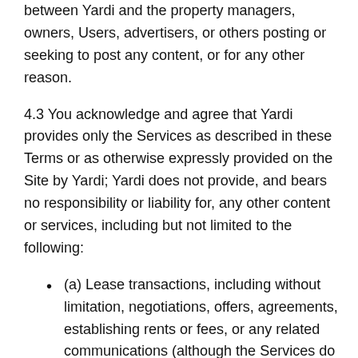between Yardi and the property managers, owners, Users, advertisers, or others posting or seeking to post any content, or for any other reason.
4.3 You acknowledge and agree that Yardi provides only the Services as described in these Terms or as otherwise expressly provided on the Site by Yardi; Yardi does not provide, and bears no responsibility or liability for, any other content or services, including but not limited to the following:
(a) Lease transactions, including without limitation, negotiations, offers, agreements, establishing rents or fees, or any related communications (although the Services do facilitate these transactions between Property Managers and Renters);